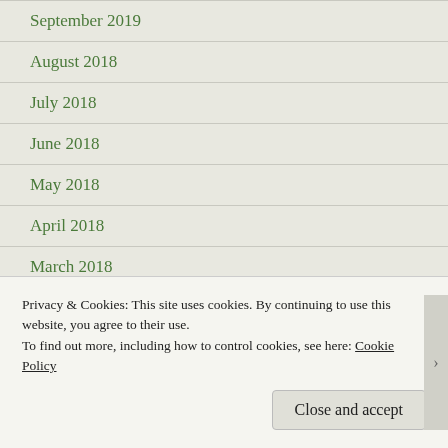September 2019
August 2018
July 2018
June 2018
May 2018
April 2018
March 2018
February 2018
January 2018
December 2017
Privacy & Cookies: This site uses cookies. By continuing to use this website, you agree to their use.
To find out more, including how to control cookies, see here: Cookie Policy
Close and accept